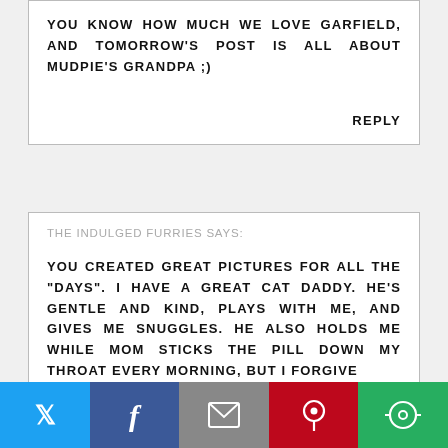YOU KNOW HOW MUCH WE LOVE GARFIELD, AND TOMORROW'S POST IS ALL ABOUT MUDPIE'S GRANDPA ;)
REPLY
THE INDULGED FURRIES SAYS:
YOU CREATED GREAT PICTURES FOR ALL THE "DAYS". I HAVE A GREAT CAT DADDY. HE'S GENTLE AND KIND, PLAYS WITH ME, AND GIVES ME SNUGGLES. HE ALSO HOLDS ME WHILE MOM STICKS THE PILL DOWN MY THROAT EVERY MORNING, BUT I FORGIVE